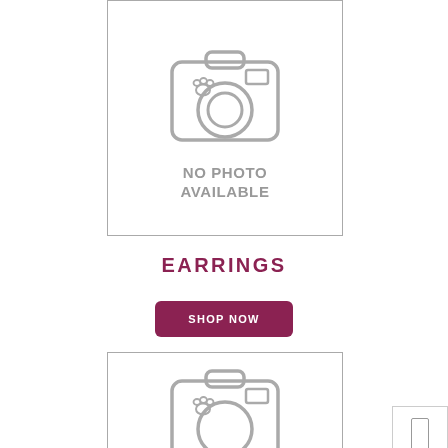[Figure (illustration): No photo available placeholder image showing a camera icon with a paw print, and text 'NO PHOTO AVAILABLE']
EARRINGS
SHOP NOW
[Figure (illustration): Second no photo available placeholder image showing a camera icon with a paw print (partially visible, cropped at bottom)]